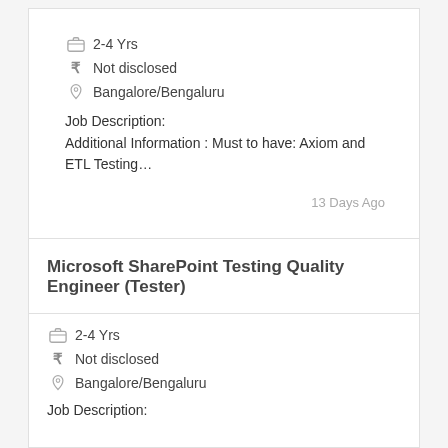2-4 Yrs
₹ Not disclosed
Bangalore/Bengaluru
Job Description:
Additional Information : Must to have: Axiom and ETL Testing…
13 Days Ago
Microsoft SharePoint Testing Quality Engineer (Tester)
2-4 Yrs
₹ Not disclosed
Bangalore/Bengaluru
Job Description: